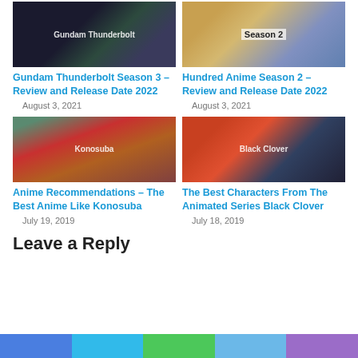[Figure (photo): Gundam Thunderbolt anime screenshot]
[Figure (photo): Hundred Anime Season 2 cover image with Season 2 text]
Gundam Thunderbolt Season 3 – Review and Release Date 2022
Hundred Anime Season 2 – Review and Release Date 2022
August 3, 2021
August 3, 2021
[Figure (photo): Konosuba anime characters illustration]
[Figure (photo): Black Clover animated series characters]
Anime Recommendations – The Best Anime Like Konosuba
The Best Characters From The Animated Series Black Clover
July 19, 2019
July 18, 2019
Leave a Reply